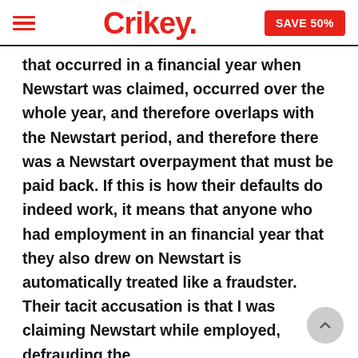Crikey. SAVE 50%
that occurred in a financial year when Newstart was claimed, occurred over the whole year, and therefore overlaps with the Newstart period, and therefore there was a Newstart overpayment that must be paid back. If this is how their defaults do indeed work, it means that anyone who had employment in an financial year that they also drew on Newstart is automatically treated like a fraudster. Their tacit accusation is that I was claiming Newstart while employed, defrauding the Commonwealth. And there are plenty of